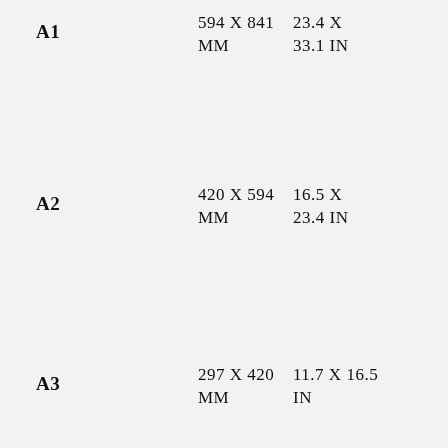| Size | MM | IN |
| --- | --- | --- |
| A1 | 594 X 841 MM | 23.4 X 33.1 IN |
| A2 | 420 X 594 MM | 16.5 X 23.4 IN |
| A3 | 297 X 420 MM | 11.7 X 16.5 IN |
| A4 | 210 X 297 MM | 8.3 X 11.7 IN |
| A5 | 148 X 210 MM | 5.8 X 8.3 IN |